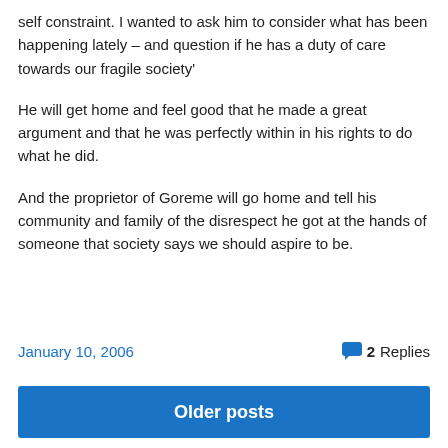self constraint. I wanted to ask him to consider what has been happening lately – and question if he has a duty of care towards our fragile society'
He will get home and feel good that he made a great argument and that he was perfectly within in his rights to do what he did.
And the proprietor of Goreme will go home and tell his community and family of the disrespect he got at the hands of someone that society says we should aspire to be.
January 10, 2006
2 Replies
Older posts